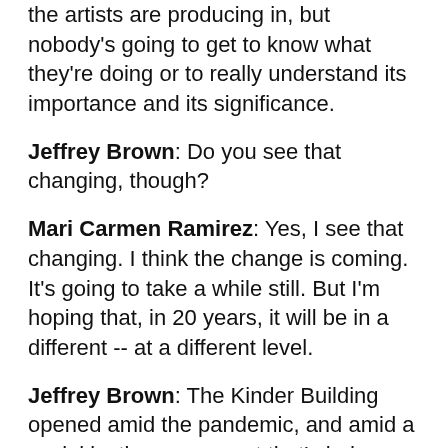the artists are producing in, but nobody's going to get to know what they're doing or to really understand its importance and its significance.
Jeffrey Brown: Do you see that changing, though?
Mari Carmen Ramirez: Yes, I see that changing. I think the change is coming. It's going to take a while still. But I'm hoping that, in 20 years, it will be in a different -- at a different level.
Jeffrey Brown: The Kinder Building opened amid the pandemic, and amid a social justice movement that's led museums nationally to rethink their missions.
The timing maybe has some dignity and